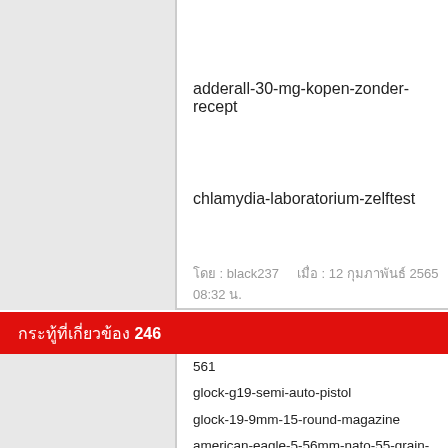adderall-30-mg-kopen-zonder-recept
chlamydia-laboratorium-zelftest
โดย : black237    เมื่อ : 12 กุมภาพันธ์ 2565 08:32 น.
กระทู้ที่เกี่ยวข้อง 246
561
glock-g19-semi-auto-pistol
glock-19-9mm-15-round-magazine
american-eagle-5-56mm-nato-55-grain-fmj-420-round-ammo-ca
remington-umc-9mm-luger-115-grain-fmj-250-rounds